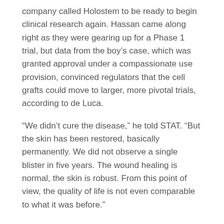company called Holostem to be ready to begin clinical research again. Hassan came along right as they were gearing up for a Phase 1 trial, but data from the boy's case, which was granted approval under a compassionate use provision, convinced regulators that the cell grafts could move to larger, more pivotal trials, according to de Luca.
“We didn’t cure the disease,” he told STAT. “But the skin has been restored, basically permanently. We did not observe a single blister in five years. The wound healing is normal, the skin is robust. From this point of view, the quality of life is not even comparable to what it was before.”
Articoli recenti